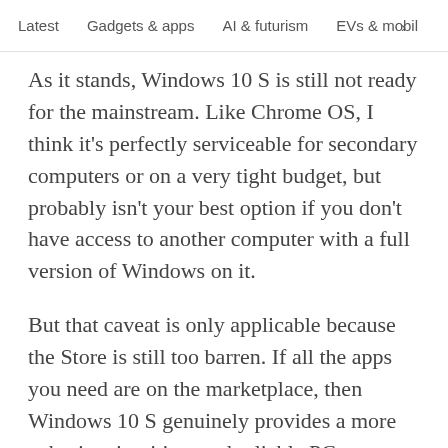Latest   Gadgets & apps   AI & futurism   EVs & mobil  >
As it stands, Windows 10 S is still not ready for the mainstream. Like Chrome OS, I think it's perfectly serviceable for secondary computers or on a very tight budget, but probably isn't your best option if you don't have access to another computer with a full version of Windows on it.
But that caveat is only applicable because the Store is still too barren. If all the apps you need are on the marketplace, then Windows 10 S genuinely provides a more cohesive, intuitive, and reliable PC experience. Microsoft is walking a thin line between limiting its users and improving its OS, but Windows 10 S is a step in the right direction.